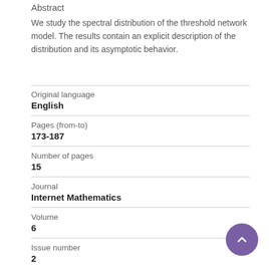Abstract
We study the spectral distribution of the threshold network model. The results contain an explicit description of the distribution and its asymptotic behavior.
| Field | Value |
| --- | --- |
| Original language | English |
| Pages (from-to) | 173-187 |
| Number of pages | 15 |
| Journal | Internet Mathematics |
| Volume | 6 |
| Issue number | 2 |